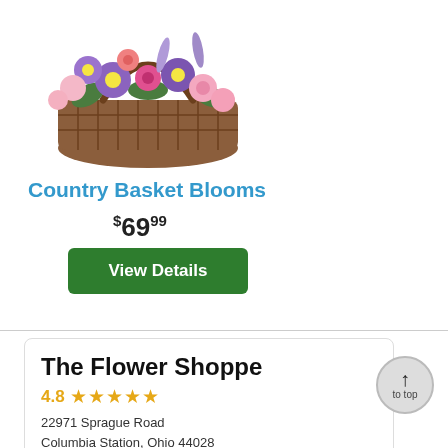[Figure (photo): A colorful flower basket arrangement with pink, purple, rose and lavender blooms in a woven brown basket]
Country Basket Blooms
$69.99
View Details
The Flower Shoppe
4.8 ★★★★★
22971 Sprague Road
Columbia Station, Ohio 44028